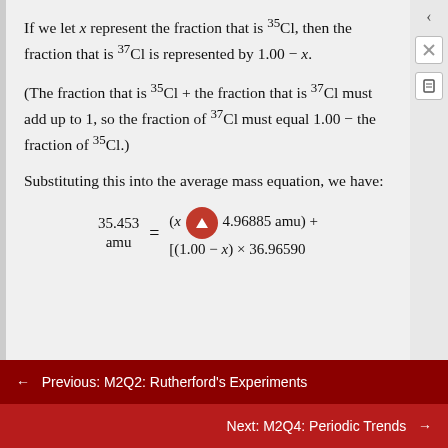If we let x represent the fraction that is 35Cl, then the fraction that is 37Cl is represented by 1.00 − x.
(The fraction that is 35Cl + the fraction that is 37Cl must add up to 1, so the fraction of 37Cl must equal 1.00 − the fraction of 35Cl.)
Substituting this into the average mass equation, we have:
← Previous: M2Q2: Rutherford's Experiments
Next: M2Q4: Periodic Trends →